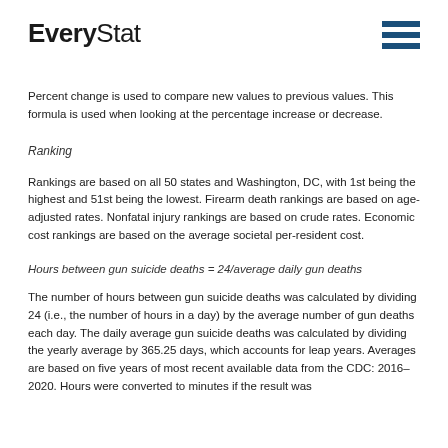EveryStat
Percent change is used to compare new values to previous values. This formula is used when looking at the percentage increase or decrease.
Ranking
Rankings are based on all 50 states and Washington, DC, with 1st being the highest and 51st being the lowest. Firearm death rankings are based on age-adjusted rates. Nonfatal injury rankings are based on crude rates. Economic cost rankings are based on the average societal per-resident cost.
Hours between gun suicide deaths = 24/average daily gun deaths
The number of hours between gun suicide deaths was calculated by dividing 24 (i.e., the number of hours in a day) by the average number of gun deaths each day. The daily average gun suicide deaths was calculated by dividing the yearly average by 365.25 days, which accounts for leap years. Averages are based on five years of most recent available data from the CDC: 2016–2020. Hours were converted to minutes if the result was